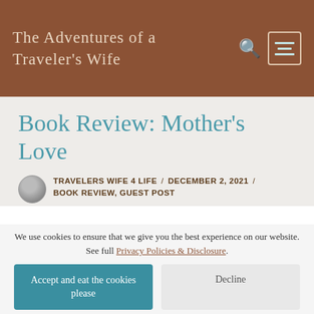The Adventures of a Traveler's Wife
Book Review: Mother's Love
TRAVELERS WIFE 4 LIFE / DECEMBER 2, 2021 / BOOK REVIEW, GUEST POST
[Figure (photo): Partial view of a book cover image strip at top of article]
We use cookies to ensure that we give you the best experience on our website. See full Privacy Policies & Disclosure.
Accept and eat the cookies please
Decline